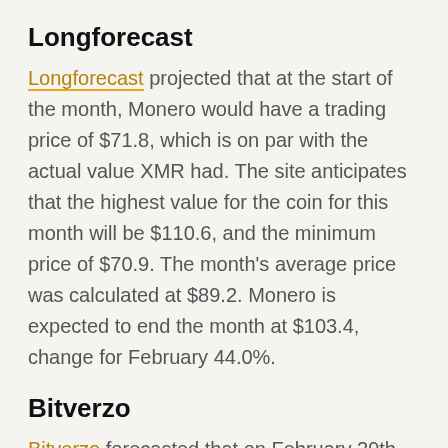Longforecast
Longforecast projected that at the start of the month, Monero would have a trading price of $71.8, which is on par with the actual value XMR had. The site anticipates that the highest value for the coin for this month will be $110.6, and the minimum price of $70.9. The month's average price was calculated at $89.2. Monero is expected to end the month at $103.4, change for February 44.0%.
Bitverzo
Bitverzo forecasted that on February 29th, Monero would have an average price of